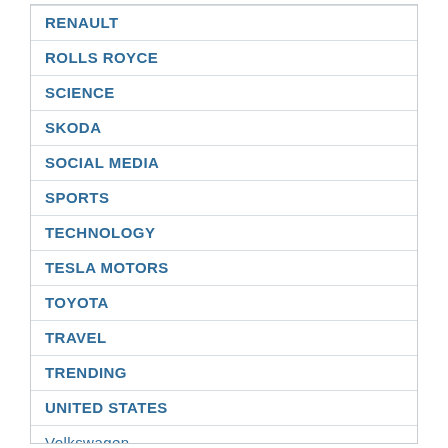RENAULT
ROLLS ROYCE
SCIENCE
SKODA
SOCIAL MEDIA
SPORTS
TECHNOLOGY
TESLA MOTORS
TOYOTA
TRAVEL
TRENDING
UNITED STATES
Volkswagen
WORLD